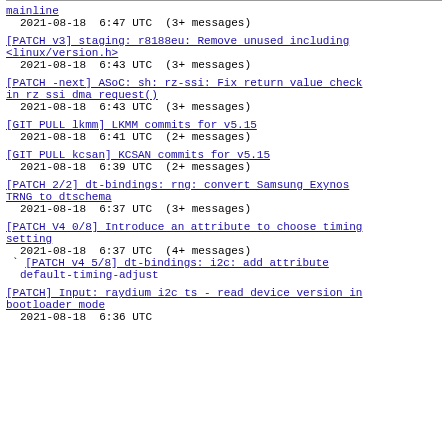mainline
2021-08-18  6:47 UTC  (3+ messages)
[PATCH v3] staging: r8188eu: Remove unused including <linux/version.h>
2021-08-18  6:43 UTC  (3+ messages)
[PATCH -next] ASoC: sh: rz-ssi: Fix return value check in rz ssi dma request()
2021-08-18  6:43 UTC  (3+ messages)
[GIT PULL lkmm] LKMM commits for v5.15
2021-08-18  6:41 UTC  (2+ messages)
[GIT PULL kcsan] KCSAN commits for v5.15
2021-08-18  6:39 UTC  (2+ messages)
[PATCH 2/2] dt-bindings: rng: convert Samsung Exynos TRNG to dtschema
2021-08-18  6:37 UTC  (3+ messages)
[PATCH V4 0/8] Introduce an attribute to choose timing setting
2021-08-18  6:37 UTC  (4+ messages)
` [PATCH v4 5/8] dt-bindings: i2c: add attribute default-timing-adjust
[PATCH] Input: raydium i2c ts - read device version in bootloader mode
2021-08-18  6:36 UTC